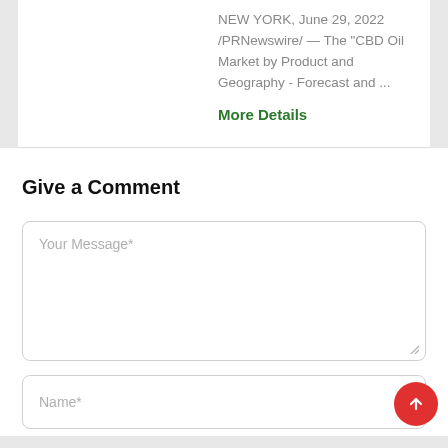NEW YORK, June 29, 2022 /PRNewswire/ — The "CBD Oil Market by Product and Geography - Forecast and ...
More Details
Give a Comment
Your Message*
Name*